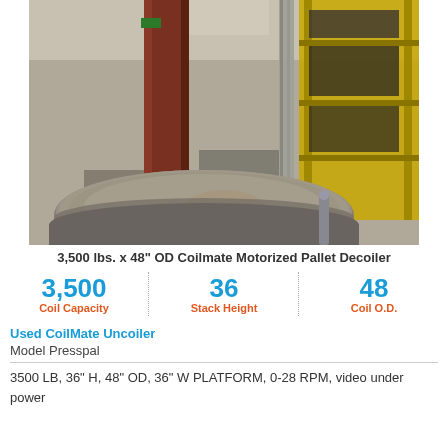[Figure (photo): Industrial photo of a Coilmate Motorized Pallet Decoiler in a cluttered workshop/warehouse setting. Shows metal shelving racks in background and a large circular flat coil reel on a pallet in the foreground. Red painted vertical steel column visible on left, yellow metal shelving on right.]
3,500 lbs. x 48" OD Coilmate Motorized Pallet Decoiler
[Figure (infographic): Three-column specs infographic: 3,500 Coil Capacity | 36 Stack Height | 48 Coil O.D.]
Used CoilMate Uncoiler
Model Presspal
3500 LB, 36" H, 48" OD, 36" W PLATFORM, 0-28 RPM, video under power